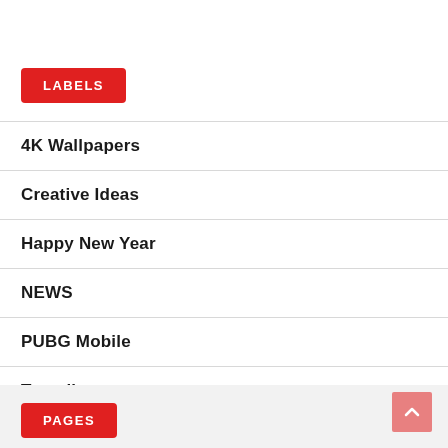LABELS
4K Wallpapers
Creative Ideas
Happy New Year
NEWS
PUBG Mobile
Traveling
PAGES